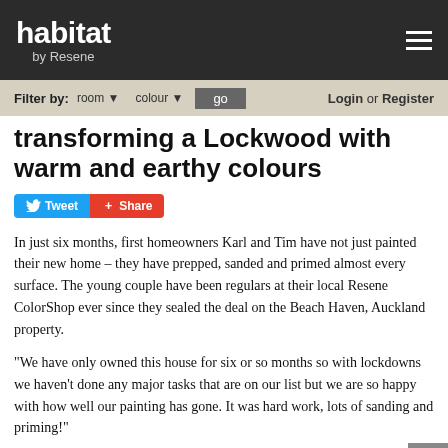habitat by Resene
Filter by: room ▼   colour ▼   go   Login or Register
transforming a Lockwood with warm and earthy colours
Tweet  Share
In just six months, first homeowners Karl and Tim have not just painted their new home – they have prepped, sanded and primed almost every surface.  The young couple have been regulars at their local Resene ColorShop ever since they sealed the deal on the Beach Haven, Auckland property.
"We have only owned this house for six or so months so with lockdowns we haven't done any major tasks that are on our list but we are so happy with how well our painting has gone. It was hard work, lots of sanding and priming!"
With some ceilings at four metres high it was a real challenge.